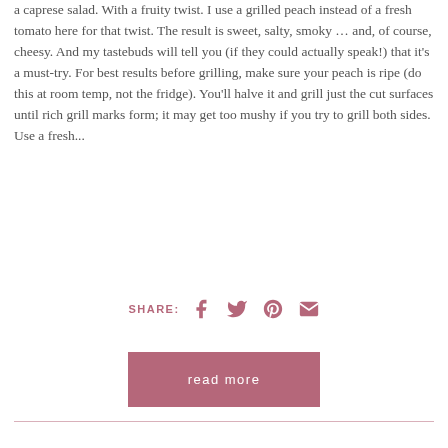a caprese salad. With a fruity twist. I use a grilled peach instead of a fresh tomato here for that twist. The result is sweet, salty, smoky … and, of course, cheesy. And my tastebuds will tell you (if they could actually speak!) that it's a must-try. For best results before grilling, make sure your peach is ripe (do this at room temp, not the fridge). You'll halve it and grill just the cut surfaces until rich grill marks form; it may get too mushy if you try to grill both sides. Use a fresh...
SHARE: [Facebook] [Twitter] [Pinterest] [Email]
read more